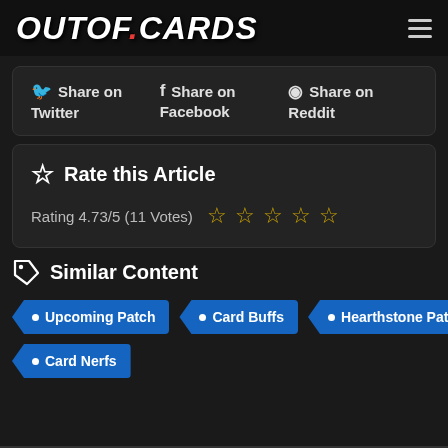OUTOF.CARDS
Share on Twitter  Share on Facebook  Share on Reddit
Rate this Article
Rating 4.73/5 (11 Votes)
Similar Content
Upcoming Patch
Card Buffs
Hearthstone Patch
Card Nerfs